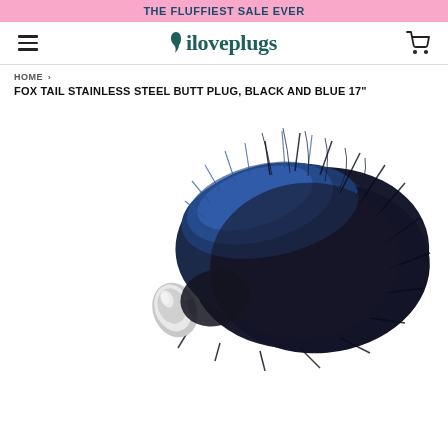THE FLUFFIEST SALE EVER
[Figure (logo): iloveplugs brand logo with teal/dark green text]
HOME ▶ FOX TAIL STAINLESS STEEL BUTT PLUG, BLACK AND BLUE 17"
FOX TAIL STAINLESS STEEL BUTT PLUG, BLACK AND BLUE 17"
[Figure (photo): Product photo of a fox tail butt plug with black and blue faux fur tail and silver stainless steel plug base, photographed on white background]